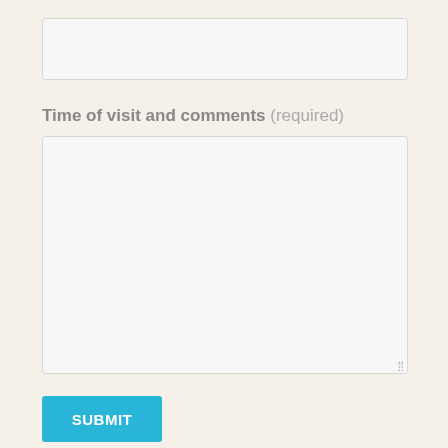[Figure (other): Empty text input field with light gray background and border]
Time of visit and comments (required)
[Figure (other): Large empty textarea input field with light gray background and border, with resize handle in bottom-right corner]
SUBMIT